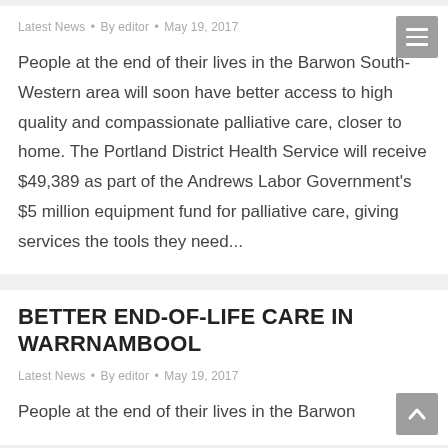Latest News • By editor • May 19, 2017
People at the end of their lives in the Barwon South-Western area will soon have better access to high quality and compassionate palliative care, closer to home. The Portland District Health Service will receive $49,389 as part of the Andrews Labor Government's $5 million equipment fund for palliative care, giving services the tools they need...
BETTER END-OF-LIFE CARE IN WARRNAMBOOL
Latest News • By editor • May 19, 2017
People at the end of their lives in the Barwon